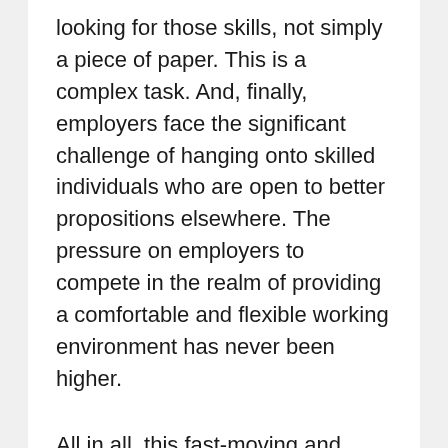looking for those skills, not simply a piece of paper. This is a complex task. And, finally, employers face the significant challenge of hanging onto skilled individuals who are open to better propositions elsewhere. The pressure on employers to compete in the realm of providing a comfortable and flexible working environment has never been higher.
All in all, this fast-moving and competitive environment no doubt presents challenges – we are all perhaps pressurized by both this and technology to perform at a higher and constant level than ever before. However, it also presents an opportunity like never before for us to iterate towards the right profession over time. In this job market, employees can try and never really have to buy: they can gather skills from each position they hold, and move towards the next one better equipped than before. They can keep looking for